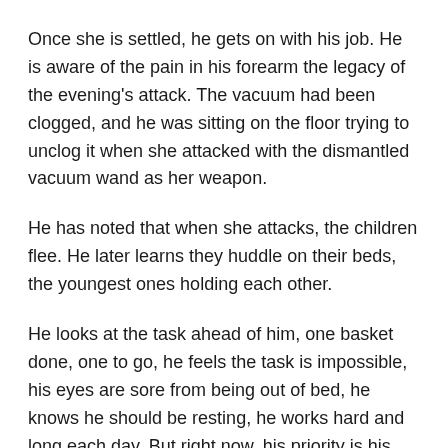Once she is settled, he gets on with his job. He is aware of the pain in his forearm the legacy of the evening's attack. The vacuum had been clogged, and he was sitting on the floor trying to unclog it when she attacked with the dismantled vacuum wand as her weapon.
He has noted that when she attacks, the children flee. He later learns they huddle on their beds, the youngest ones holding each other.
He looks at the task ahead of him, one basket done, one to go, he feels the task is impossible, his eyes are sore from being out of bed, he knows he should be resting, he works hard and long each day. But right now, his priority is his children.
By two am the baskets are empty and around him are piles of children's clothes, which in the morning before